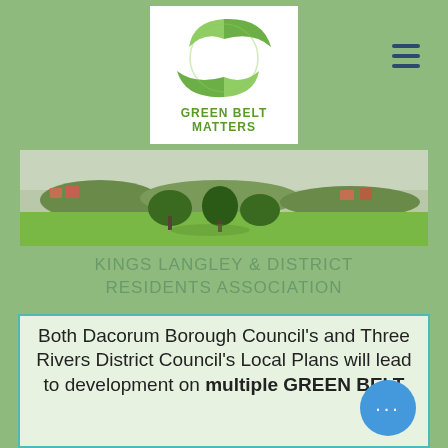[Figure (logo): Green Belt Matters logo with two green leaves forming a circle and text 'GREEN BELT MATTERS' in green on white background]
[Figure (photo): Landscape photograph showing green fields, trees, and houses in the background under an overcast sky — a typical green belt scene]
KINGS LANGLEY & DISTRICT RESIDENTS ASSOCIATION
Both Dacorum Borough Council's and Three Rivers District Council's Local Plans will lead to development on multiple GREEN BELT